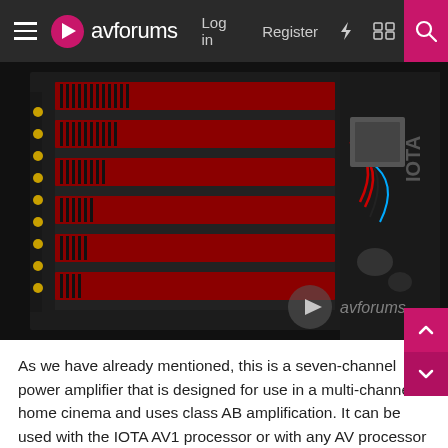avforums  Log in  Register
[Figure (photo): Interior view of an IOTA AVXP1 seven-channel power amplifier showing red circuit boards with heat sinks and wiring]
As we have already mentioned, this is a seven-channel power amplifier that is designed for use in a multi-channel home cinema and uses class AB amplification. It can be used with the IOTA AV1 processor or with any AV processor or AV Receiver with 7 channel pre-outs to feed the amplifier.
IOTA claims that the AVXP1 is capable of 170W per channel for